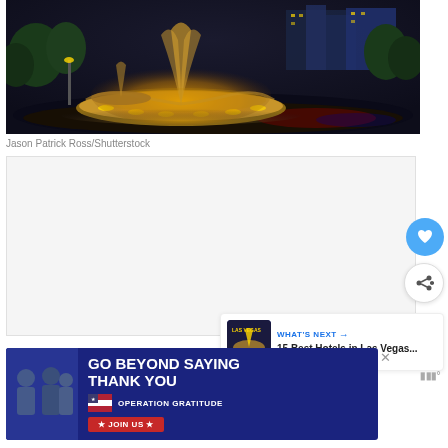[Figure (photo): Night time fountain at a Las Vegas casino, illuminated with warm golden lights, with colorful reflections on the water and buildings in the background]
Jason Patrick Ross/Shutterstock
[Figure (screenshot): UI overlay with heart/favorite button (blue circle), share button (white circle), and What's Next promo for '15 Best Hotels in Las Vegas...']
[Figure (photo): Advertisement banner: GO BEYOND SAYING THANK YOU - Operation Gratitude - JOIN US]